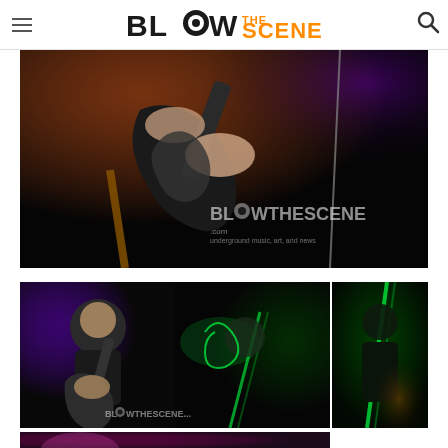Blow The Scene - navigation header with logo and search icon
[Figure (photo): Close-up concert photo of a guitarist playing a dark patterned electric guitar on stage with warm orange and purple stage lighting. BlowTheScene.com watermark visible in lower right.]
[Figure (photo): Split concert photo: left side shows a bald guitarist playing a bass guitar under purple stage lighting; right side shows another guitarist with green neon-lit guitar under dark green lighting. BlowTheScene watermark visible.]
[Figure (photo): Partial concert photo at bottom showing performers with colorful stage lighting in purple/pink tones.]